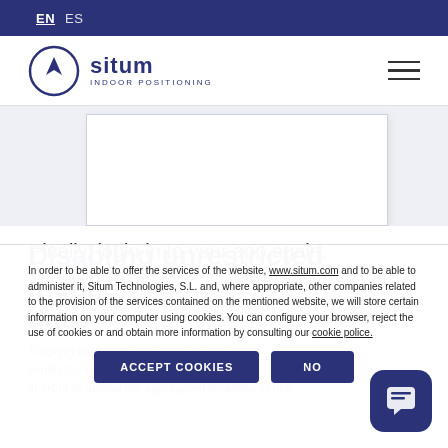EN  ES
[Figure (logo): Situm Indoor Positioning logo with compass circle icon and text 'situm INDOOR POSITIONING']
[Figure (screenshot): White content area/screenshot placeholder with light blue-grey background]
Finally, login in to your app again.
[Figure (other): Background section text overlay: 'Disabling unrestricted mobile data' heading and subtext about tracking apps communicating with Situm Platform]
In order to be able to offer the services of the website, www.situm.com and to be able to administer it, Situm Technologies, S.L. and, where appropriate, other companies related to the provision of the services contained on the mentioned website, we will store certain information on your computer using cookies. You can configure your browser, reject the use of cookies or and obtain more information by consulting our cookie police.
ACCEPT COOKIES  NO